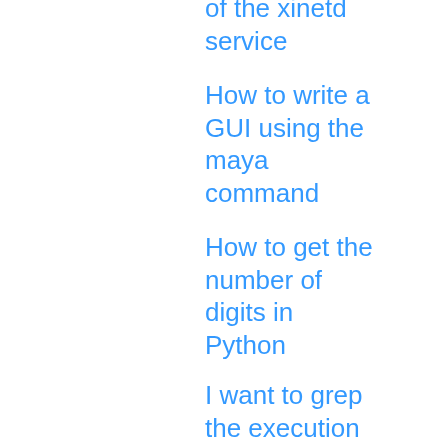of the xinetd service
How to write a GUI using the maya command
How to get the number of digits in Python
I want to grep the execution result of strace
[Python] How to specify the download location with youtube-dl
How to start the code written in Atom with one command without starting teminal
How to get started with Visual Studio Online ~ The end of the environment construction era ~